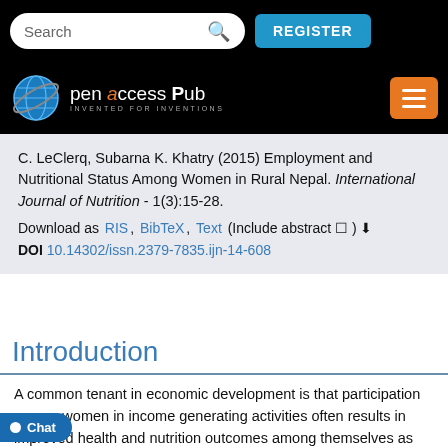Search | REGISTER
[Figure (logo): Open Access Pub logo with globe icon and tagline INVENTED FOR INVENTIONS]
C. LeClerq, Subarna K. Khatry (2015) Employment and Nutritional Status Among Women in Rural Nepal. International Journal of Nutrition - 1(3):15-28.
Download as RIS, BibTeX, Text (Include abstract ☐) ⬇
DOI 10.14302/issn.2379-7835.ijn-14-608
Introduction
A common tenant in economic development is that participation among women in income generating activities often results in improved health and nutrition outcomes among themselves as